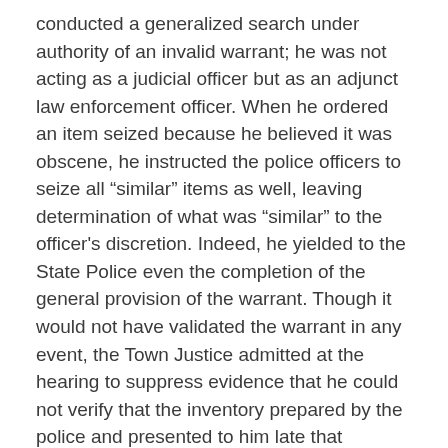conducted a generalized search under authority of an invalid warrant; he was not acting as a judicial officer but as an adjunct law enforcement officer. When he ordered an item seized because he believed it was obscene, he instructed the police officers to seize all "similar" items as well, leaving determination of what was "similar" to the officer's discretion. Indeed, he yielded to the State Police even the completion of the general provision of the warrant. Though it would not have validated the warrant in any event, the Town Justice admitted at the hearing to suppress evidence that he could not verify that the inventory prepared by the police and presented to him late that evening accurately reflected what he had ordered seized.
We also cannot accept the State's contention that it acted in compliance with Heller v. New York, 413 U.S. 483 (1973). There, based on police reports of probable violation of state law, a judge viewed a film in a theater as an ordinary paying